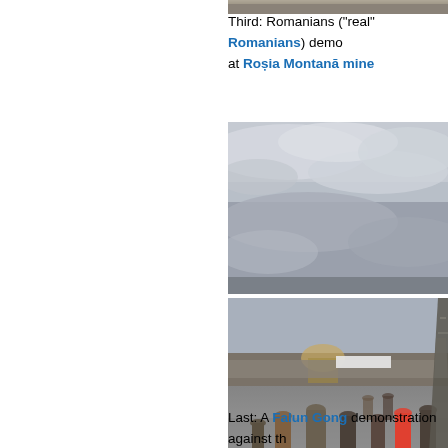[Figure (photo): Top portion of a cropped photo, appears to be dark/grey tones at the top of the page on the right side]
Third: Romanians ("real" Romanians) demo... at Roșia Montană mine
[Figure (photo): Cloudy grey sky photograph, overcast with dramatic cloud formations]
[Figure (photo): Crowd of people standing in an open plaza area near what appears to be the Eiffel Tower in Paris, with buildings and a banner visible in the background]
Last: A Falun Gong demonstration against th...